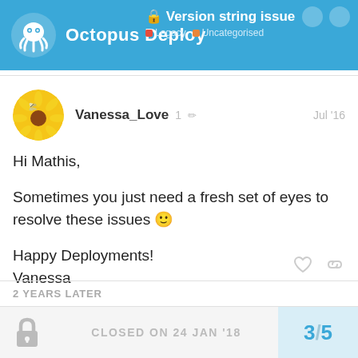Octopus Deploy — Version string issue — Legacy, Uncategorised
Vanessa_Love  1  Jul '16

Hi Mathis,

Sometimes you just need a fresh set of eyes to resolve these issues 🙂

Happy Deployments!
Vanessa
2 YEARS LATER
CLOSED ON 24 JAN '18   3 / 5